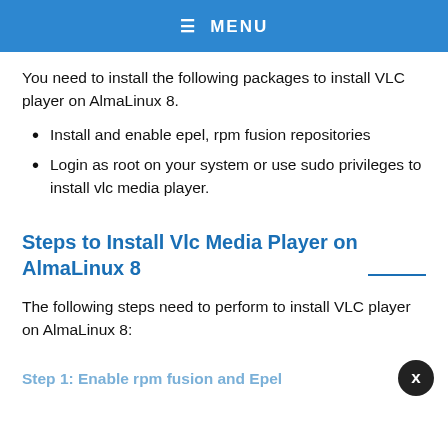☰ MENU
You need to install the following packages to install VLC player on AlmaLinux 8.
Install and enable epel, rpm fusion repositories
Login as root on your system or use sudo privileges to install vlc media player.
Steps to Install Vlc Media Player on AlmaLinux 8
The following steps need to perform to install VLC player on AlmaLinux 8:
Step 1: Enable rpm fusion and Epel